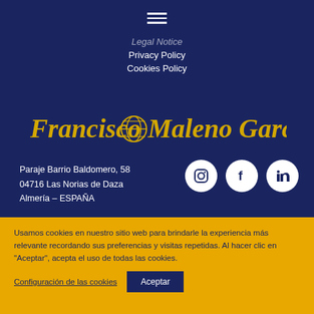Legal Notice
Privacy Policy
Cookies Policy
[Figure (logo): Francisco Maleno García s.l. logo in gold script font with globe icon]
Paraje Barrio Baldomero, 58
04716 Las Norias de Daza
Almería – ESPAÑA
[Figure (other): Social media icons: Instagram, Facebook, LinkedIn - white circles on dark blue background]
Usamos cookies en nuestro sitio web para brindarle la experiencia más relevante recordando sus preferencias y visitas repetidas. Al hacer clic en "Aceptar", acepta el uso de todas las cookies.
Configuración de las cookies
Aceptar